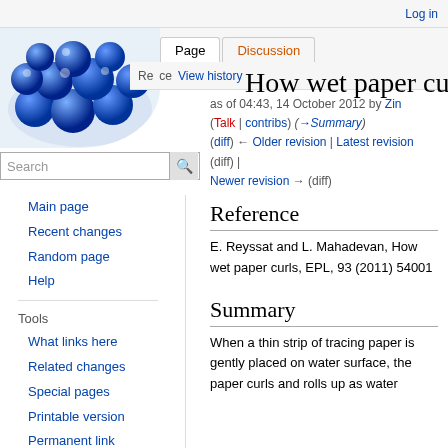Log in
[Figure (photo): Blue spherical balls/beads clustered together in a bowl-shaped container, Wikipedia logo style]
Page | Discussion | Re... | View history
How wet paper curls
as of 04:43, 14 October 2012 by Zin (Talk | contribs) (→Summary) (diff) ← Older revision | Latest revision (diff) | Newer revision → (diff)
Reference
E. Reyssat and L. Mahadevan, How wet paper curls, EPL, 93 (2011) 54001
Summary
When a thin strip of tracing paper is gently placed on water surface, the paper curls and rolls up as water
Main page
Recent changes
Random page
Help
Tools
What links here
Related changes
Special pages
Printable version
Permanent link
Page information